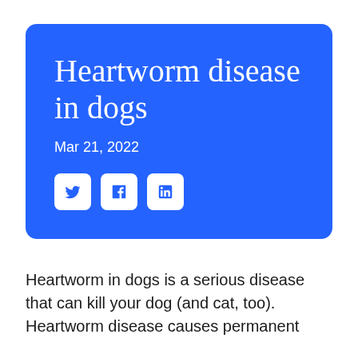Heartworm disease in dogs
Mar 21, 2022
[Figure (other): Social media sharing icons for Twitter, Facebook, and LinkedIn on blue background]
Heartworm in dogs is a serious disease that can kill your dog (and cat, too). Heartworm disease causes permanent